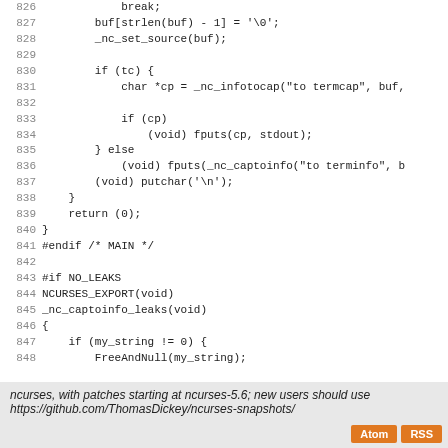Code listing lines 826-852 of ncurses source file showing C code for buf, _nc_set_source, conditional termcap/terminfo conversion, return, #endif MAIN, #if NO_LEAKS block with NCURSES_EXPORT and _nc_captoinfo_leaks function
ncurses, with patches starting at ncurses-5.6; new users should use https://github.com/ThomasDickey/ncurses-snapshots/